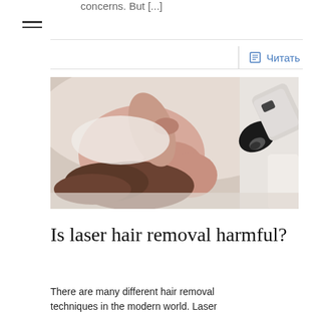concerns. But [...]
[Figure (photo): A woman lying on a medical bed receiving laser hair removal treatment on her underarm area, with a gloved technician holding a laser device near her. The woman has long brown hair and is wearing a white towel.]
Is laser hair removal harmful?
There are many different hair removal techniques in the modern world. Laser